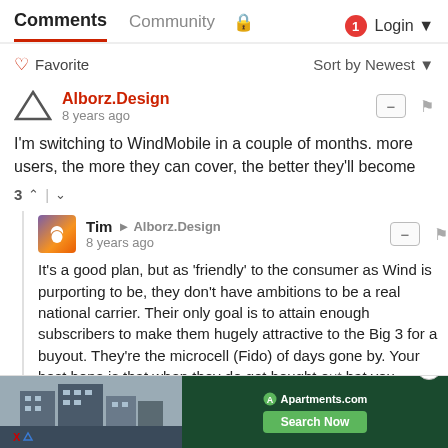Comments  Community  🔒  1  Login
♡ Favorite   Sort by Newest
Alborz.Design
8 years ago
I'm switching to WindMobile in a couple of months. more users, the more they can cover, the better they'll become
3 ↑ | ↓
Tim → Alborz.Design
8 years ago
It's a good plan, but as 'friendly' to the consumer as Wind is purporting to be, they don't have ambitions to be a real national carrier. Their only goal is to attain enough subscribers to make them hugely attractive to the Big 3 for a buyout. They're the microcell (Fido) of days gone by. Your best hope is that when they do get bought o... hat you... car...
[Figure (screenshot): Advertisement banner for Apartments.com with city street photo, green background with 'Apartments.com' logo and 'Search Now' button]